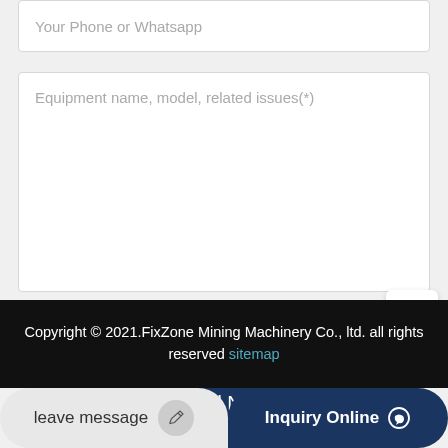Your Phone or Whatsapp
Equipment name, model, related issues(*)
I accept the Data Protection Declaration
Send Now!
Copyright © 2021.FixZone Mining Machinery Co., ltd. all rights reserved sitemap
leave message
Inquiry Online